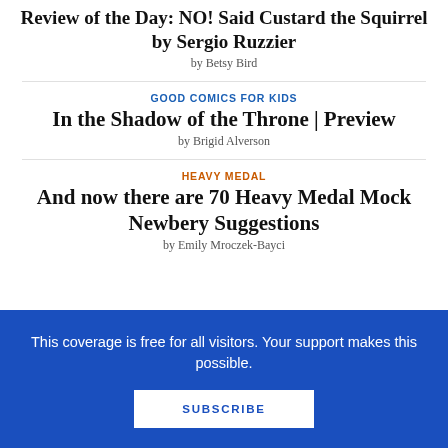Review of the Day: NO! Said Custard the Squirrel by Sergio Ruzzier
by Betsy Bird
GOOD COMICS FOR KIDS
In the Shadow of the Throne | Preview
by Brigid Alverson
HEAVY MEDAL
And now there are 70 Heavy Medal Mock Newbery Suggestions
by Emily Mroczek-Bayci
This coverage is free for all visitors. Your support makes this possible.
SUBSCRIBE